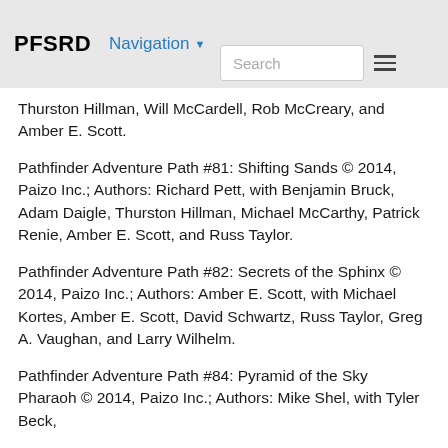PFSRD  Navigation
Thurston Hillman, Will McCardell, Rob McCreary, and Amber E. Scott.
Pathfinder Adventure Path #81: Shifting Sands © 2014, Paizo Inc.; Authors: Richard Pett, with Benjamin Bruck, Adam Daigle, Thurston Hillman, Michael McCarthy, Patrick Renie, Amber E. Scott, and Russ Taylor.
Pathfinder Adventure Path #82: Secrets of the Sphinx © 2014, Paizo Inc.; Authors: Amber E. Scott, with Michael Kortes, Amber E. Scott, David Schwartz, Russ Taylor, Greg A. Vaughan, and Larry Wilhelm.
Pathfinder Adventure Path #84: Pyramid of the Sky Pharaoh © 2014, Paizo Inc.; Authors: Mike Shel, with Tyler Beck,